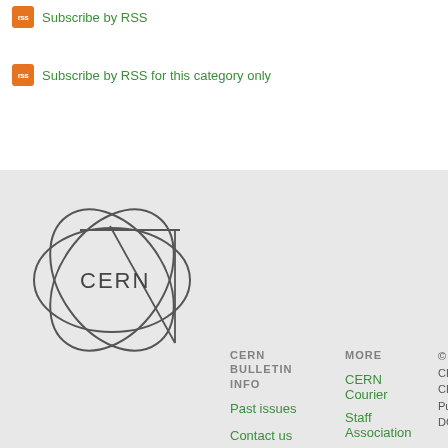Subscribe by RSS
Subscribe by RSS for this category only
[Figure (logo): CERN logo — circular geometric lines with CERN text inside]
CERN BULLETIN INFO
Past issues
Contact us
RSS feed
Subscribe
MORE
CERN Courier
Staff Association
Press Office
Training
CERN & HEP events
Clubs
© C
CER
CEI
Pu
DG